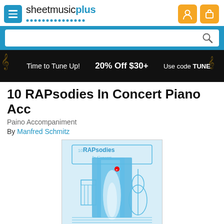[Figure (logo): Sheet Music Plus logo with hamburger menu icon and blue dotted underline]
[Figure (screenshot): User account and shopping cart orange icon buttons in header]
[Figure (screenshot): Search bar with blue background and magnifying glass icon]
[Figure (infographic): Promotional banner: Time to Tune Up! 20% Off $30+ Use code TUNE with musical notes on dark background]
10 RAPsodies In Concert Piano Acc
Paino Accompaniment
By Manfred Schmitz
[Figure (photo): Book cover for 10 RAPsodies In Concert showing blue artistic design with cello and piano outlines]